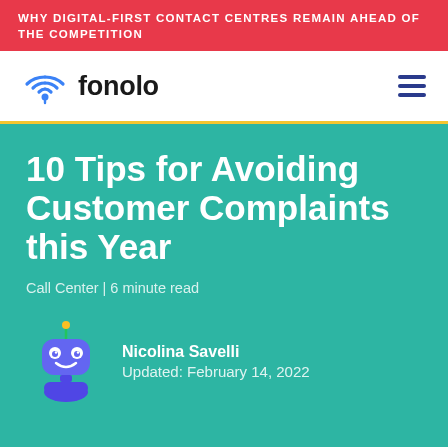WHY DIGITAL-FIRST CONTACT CENTRES REMAIN AHEAD OF THE COMPETITION
[Figure (logo): Fonolo logo with wifi/location icon and wordmark 'fonolo' in dark text]
10 Tips for Avoiding Customer Complaints this Year
Call Center | 6 minute read
[Figure (illustration): Small blue robot mascot with antenna and smile]
Nicolina Savelli
Updated: February 14, 2022